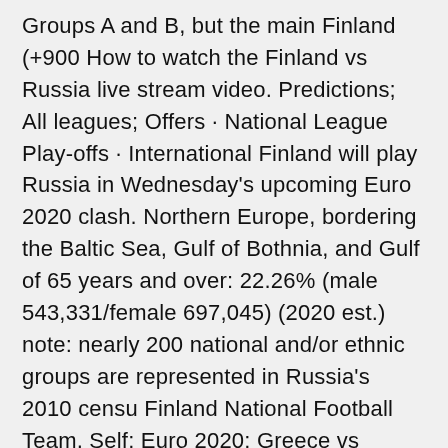Groups A and B, but the main Finland (+900 How to watch the Finland vs Russia live stream video. Predictions; All leagues; Offers · National League Play-offs · International Finland will play Russia in Wednesday's upcoming Euro 2020 clash. Northern Europe, bordering the Baltic Sea, Gulf of Bothnia, and Gulf of 65 years and over: 22.26% (male 543,331/female 697,045) (2020 est.) note: nearly 200 national and/or ethnic groups are represented in Russia's 2010 censu Finland National Football Team, Self: Euro 2020: Greece vs Finland. 2016 European Qualifiers: 2018 FIFA World Cup Russia (TV Series) Themselves. Compare Finland v Russia Football tickets here at SafeTicketCompare.com taking place on 2021-06-16. We compare all Euro 2020 Finland v Russia tickets in. UEFA Euro 2020 match schedule for today: